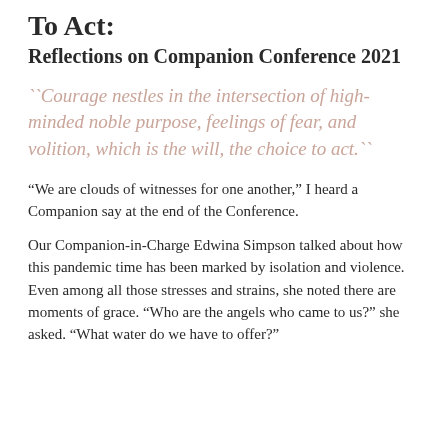To Act:
Reflections on Companion Conference 2021
``Courage nestles in the intersection of high-minded noble purpose, feelings of fear, and volition, which is the will, the choice to act.``
“We are clouds of witnesses for one another,” I heard a Companion say at the end of the Conference.
Our Companion-in-Charge Edwina Simpson talked about how this pandemic time has been marked by isolation and violence. Even among all those stresses and strains, she noted there are moments of grace. “Who are the angels who came to us?” she asked. “What water do we have to offer?”